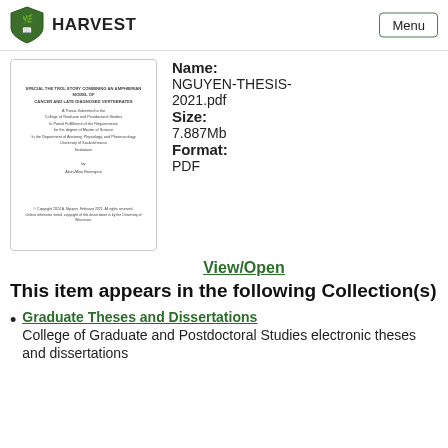HARVEST  Menu
[Figure (screenshot): Thumbnail of thesis document cover page showing title about amphibian models of cancer and late-diagnosed vertebrates]
Name: NGUYEN-THESIS-2021.pdf
Size: 7.887Mb
Format: PDF
View/Open
This item appears in the following Collection(s)
Graduate Theses and Dissertations
College of Graduate and Postdoctoral Studies electronic theses and dissertations